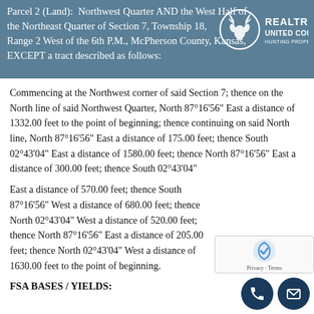Parcel 2 (Land): Northwest Quarter AND the West Half of the Northeast Quarter of Section 7, Township 18, Range 2 West of the 6th P.M., McPherson County, Kansas, EXCEPT a tract described as follows:
[Figure (logo): Realtree United Country Hunting Properties logo with deer antler graphic]
Commencing at the Northwest corner of said Section 7; thence on the North line of said Northwest Quarter, North 87°16'56" East a distance of 1332.00 feet to the point of beginning; thence continuing on said North line, North 87°16'56" East a distance of 175.00 feet; thence South 02°43'04" East a distance of 1580.00 feet; thence North 87°16'56" East a distance of 300.00 feet; thence South 02°43'04"
East a distance of 570.00 feet; thence South 87°16'56" West a distance of 680.00 feet; thence North 02°43'04" West a distance of 520.00 feet; thence North 87°16'56" East a distance of 205.00 feet; thence North 02°43'04" West a distance of 1630.00 feet to the point of beginning.
FSA BASES / YIELDS: